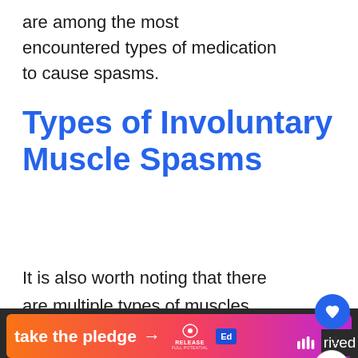are among the most encountered types of medication to cause spasms.
Types of Involuntary Muscle Spasms
It is also worth noting that there are multiple types of muscles spasms. Tetany, for example, is a type of
[Figure (screenshot): A banner ad at the bottom of the page with orange-to-pink gradient background, text 'take the pledge' with an arrow, Release logo, and Ed badge. Partially obscured text 'rived' in dark area on right.]